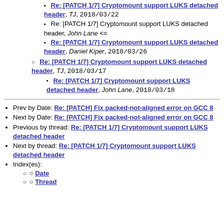Re: [PATCH 1/7] Cryptomount support LUKS detached header, TJ, 2018/03/22
Re: [PATCH 1/7] Cryptomount support LUKS detached header, John Lane <=
Re: [PATCH 1/7] Cryptomount support LUKS detached header, Daniel Kiper, 2018/03/26
Re: [PATCH 1/7] Cryptomount support LUKS detached header, TJ, 2018/03/17
Re: [PATCH 1/7] Cryptomount support LUKS detached header, John Lane, 2018/03/18
Prev by Date: Re: [PATCH] Fix packed-not-aligned error on GCC 8
Next by Date: Re: [PATCH] Fix packed-not-aligned error on GCC 8
Previous by thread: Re: [PATCH 1/7] Cryptomount support LUKS detached header
Next by thread: Re: [PATCH 1/7] Cryptomount support LUKS detached header
Index(es):
Date
Thread